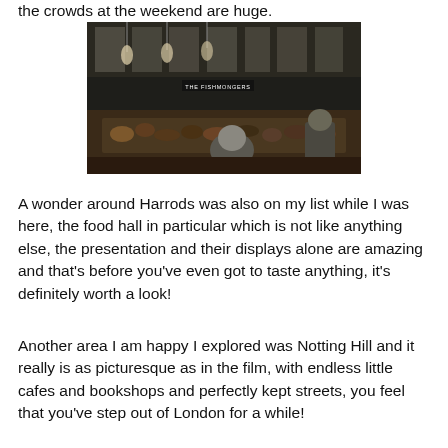the crowds at the weekend are huge.
[Figure (photo): Interior photo of The Fishmongers food hall/market, showing a seafood counter with displays of fish and food, pendant lights hanging from ceiling, and a customer viewed from behind browsing the counter.]
A wonder around Harrods was also on my list while I was here, the food hall in particular which is not like anything else, the presentation and their displays alone are amazing and that's before you've even got to taste anything, it's definitely worth a look!
Another area I am happy I explored was Notting Hill and it really is as picturesque as in the film, with endless little cafes and bookshops and perfectly kept streets, you feel that you've step out of London for a while!